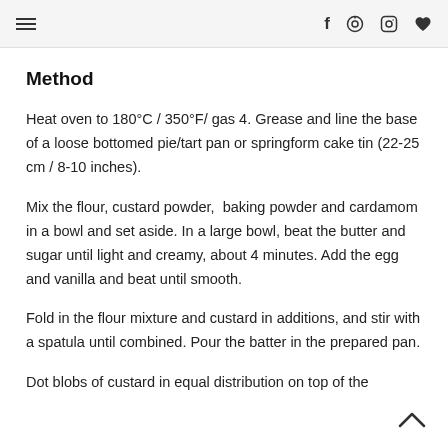≡  f  ⊕  ☐  ♥
Method
Heat oven to 180°C / 350°F/ gas 4. Grease and line the base of a loose bottomed pie/tart pan or springform cake tin (22-25 cm / 8-10 inches).
Mix the flour, custard powder,  baking powder and cardamom in a bowl and set aside. In a large bowl, beat the butter and sugar until light and creamy, about 4 minutes. Add the egg and vanilla and beat until smooth.
Fold in the flour mixture and custard in additions, and stir with a spatula until combined. Pour the batter in the prepared pan.
Dot blobs of custard in equal distribution on top of the